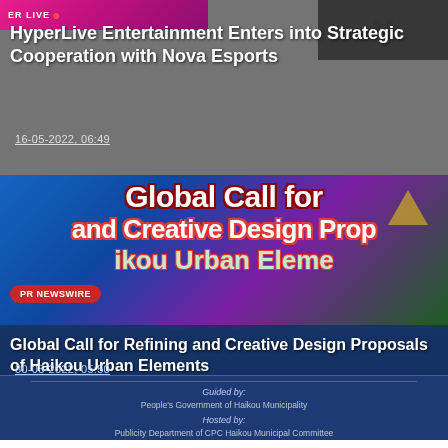[Figure (screenshot): News card 1: HyperLive Entertainment article with logo bar, dark grey background, white title text and date]
HyperLive Entertainment Enters into Strategic Cooperation with Nova Esports
16-05-2022, 06:49
[Figure (screenshot): News card 2: Global Call for Refining and Creative Design Proposals of Haikou Urban Elements, PR Newswire badge, dark blue background with colorful text image]
Global Call for Refining and Creative Design Proposals of Haikou Urban Elements
30-05-2022, 05:50
Guided by:
People's Government of Haikou Municipality
Hosted by:
Publicity Department of CPC Haikou Municipal Committee
Tourism, Culture, Radio, Film, Television and Sports Bureau of Haikou City